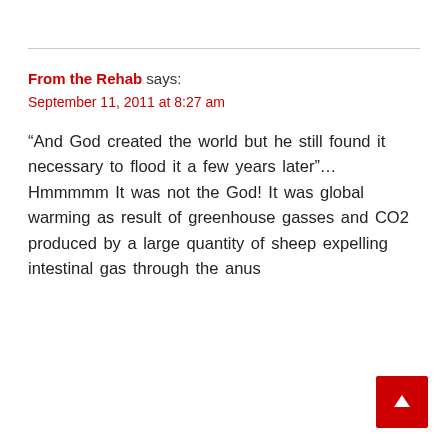From the Rehab says:
September 11, 2011 at 8:27 am
“And God created the world but he still found it necessary to flood it a few years later”… Hmmmmm It was not the God! It was global warming as result of greenhouse gasses and CO2 produced by a large quantity of sheep expelling intestinal gas through the anus